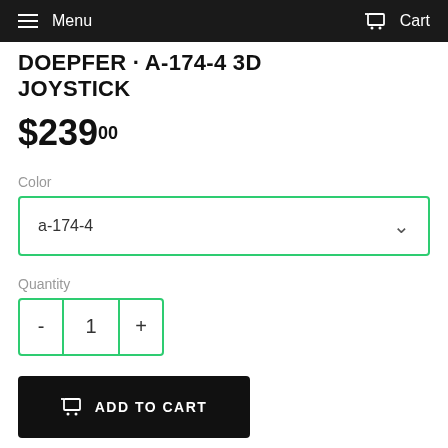Menu   Cart
DOEPFER - A-174-4 3D JOYSTICK
$239.00
Color
a-174-4
Quantity
- 1 +
ADD TO CART